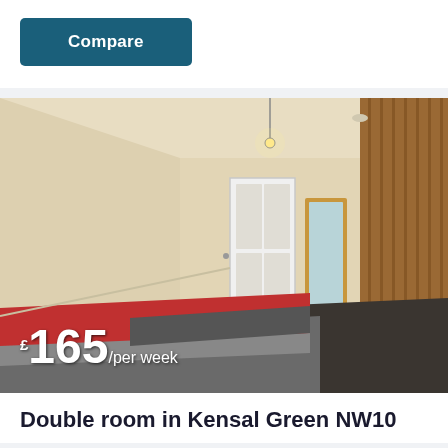Compare
[Figure (photo): Interior photo of a double bedroom showing cream walls, dark floor, a bed with grey and red bedding, a white door, a wooden-framed mirror, and a pine wardrobe on the right. A pendant bulb hangs from the ceiling. Price overlay reads £165/per week.]
Double room in Kensal Green NW10